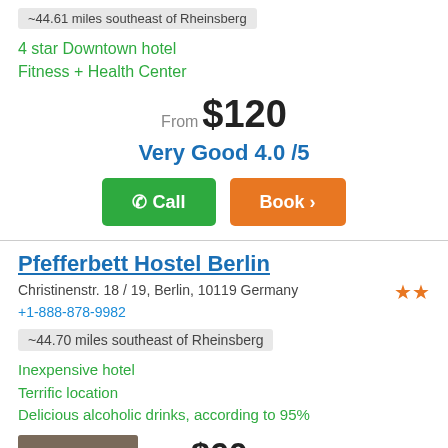~44.61 miles southeast of Rheinsberg
4 star Downtown hotel
Fitness + Health Center
From $120
Very Good 4.0 /5
Pfefferbett Hostel Berlin
Christinenstr. 18 / 19, Berlin, 10119 Germany
+1-888-878-9982
~44.70 miles southeast of Rheinsberg
Inexpensive hotel
Terrific location
Delicious alcoholic drinks, according to 95%
[Figure (photo): Hotel photo showing people in an outdoor/indoor setting]
From $60
Very Good 4.0 /5